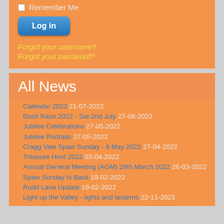Remember Me
Log in
Forgot your username?
Forgot your password?
All News
Calendar 2023 21-07-2022
Duck Race 2022 - Sat 2nd July 27-06-2022
Jubilee Celebrations 27-05-2022
Jubilee Portraits 27-05-2022
Cragg Vale Spaw Sunday - 8 May 2022 27-04-2022
Treasure Hunt 2022 03-04-2022
Annual General Meeting (AGM) 29th March 2022 26-03-2022
Spaw Sunday Is Back 19-02-2022
Rudd Lane Update 19-02-2022
Light up the Valley - lights and lanterns 22-11-2021